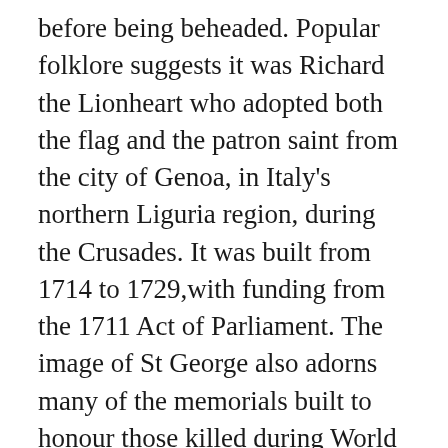before being beheaded. Popular folklore suggests it was Richard the Lionheart who adopted both the flag and the patron saint from the city of Genoa, in Italy's northern Liguria region, during the Crusades. It was built from 1714 to 1729,with funding from the 1711 Act of Parliament. The image of St George also adorns many of the memorials built to honour those killed during World War One. Headteacher : Ellen Peyton Address: St George's CE Primary School, Tylney Road, Bromley, Kent BR1 2RL. • Additional celebrations involve the commemoration of the 23 April as William Shakespeare's birthday and death. Thus, St. George is most commonly